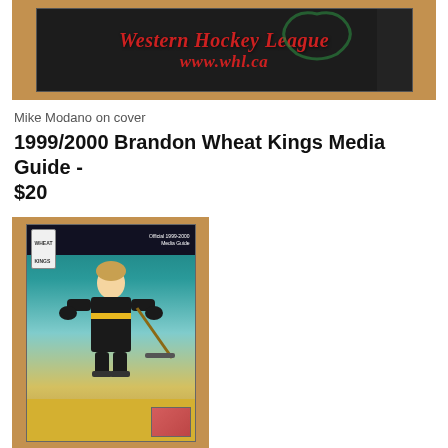[Figure (photo): Photo of a Western Hockey League media guide cover showing 'Western Hockey League www.whl.ca' text on a dark background, set against a brown/tan background]
Mike Modano on cover
1999/2000 Brandon Wheat Kings Media Guide - $20
[Figure (photo): Photo of the 1999/2000 Brandon Wheat Kings Official Media Guide cover, showing a hockey player in black and gold uniform, with the Wheat Kings logo, set against a tan/brown background]